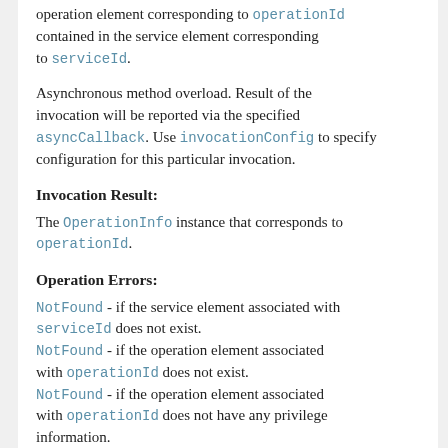operation element corresponding to operationId contained in the service element corresponding to serviceId.
Asynchronous method overload. Result of the invocation will be reported via the specified asyncCallback. Use invocationConfig to specify configuration for this particular invocation.
Invocation Result:
The OperationInfo instance that corresponds to operationId.
Operation Errors:
NotFound - if the service element associated with serviceId does not exist.
NotFound - if the operation element associated with operationId does not exist.
NotFound - if the operation element associated with operationId does not have any privilege information.
Parameters:
serviceId - Identifier of the service